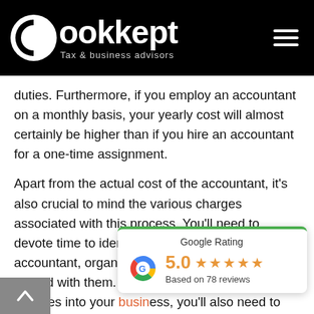Bookkept — Tax & business advisors
duties. Furthermore, if you employ an accountant on a monthly basis, your yearly cost will almost certainly be higher than if you hire an accountant for a one-time assignment.
Apart from the actual cost of the accountant, it's also crucial to mind the various charges associated with this process. You'll need to devote time to identifying and hiring an accountant, organising your books, and getting started with them. If you integrate accounting services into your business, you'll also need to include in the cost of any accounting software you employ.
[Figure (infographic): Google Rating widget showing 5.0 stars based on 78 reviews, with green top border and Google 'G' logo]